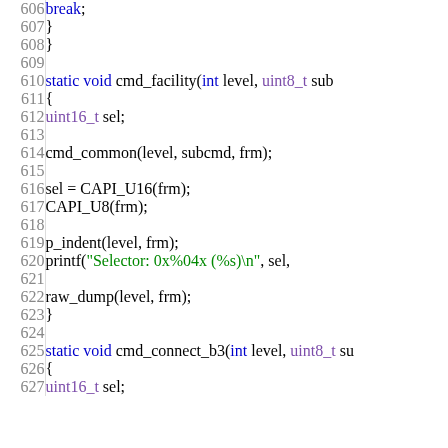Source code listing lines 606-627, C code for cmd_facility and cmd_connect_b3 functions